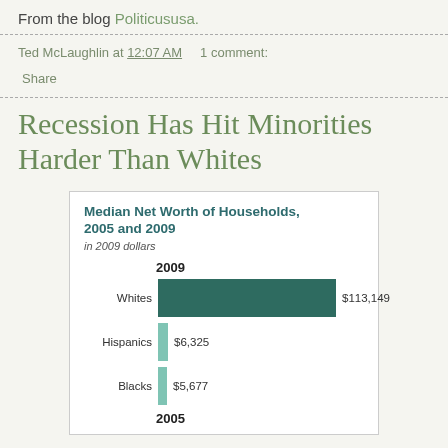From the blog Politicususa.
Ted McLaughlin at 12:07 AM   1 comment:
Share
Recession Has Hit Minorities Harder Than Whites
[Figure (bar-chart): Median Net Worth of Households, 2005 and 2009]